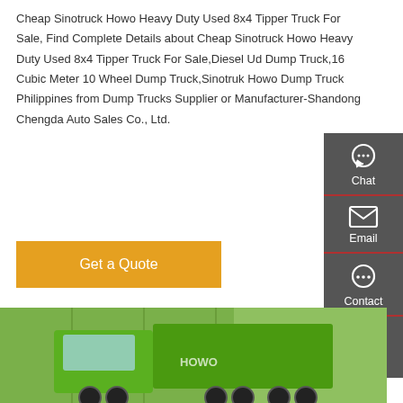Cheap Sinotruck Howo Heavy Duty Used 8x4 Tipper Truck For Sale, Find Complete Details about Cheap Sinotruck Howo Heavy Duty Used 8x4 Tipper Truck For Sale,Diesel Ud Dump Truck,16 Cubic Meter 10 Wheel Dump Truck,Sinotruk Howo Dump Truck Philippines from Dump Trucks Supplier or Manufacturer-Shandong Chengda Auto Sales Co., Ltd.
[Figure (other): Orange 'Get a Quote' button]
[Figure (photo): Photo of a bright green Sinotruck Howo heavy duty tipper/dump truck parked in front of a building with glass facade. The truck has the HOWO branding visible and a red information sign on it.]